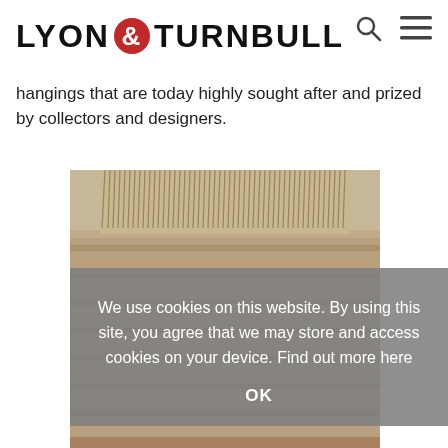LYON & TURNBULL
hangings that are today highly sought after and prized by collectors and designers.
[Figure (photo): Close-up photograph of a woven textile or rug showing fringe along the top edge and horizontal weave pattern in natural earth tones.]
We use cookies on this website. By using this site, you agree that we may store and access cookies on your device. Find out more here
OK